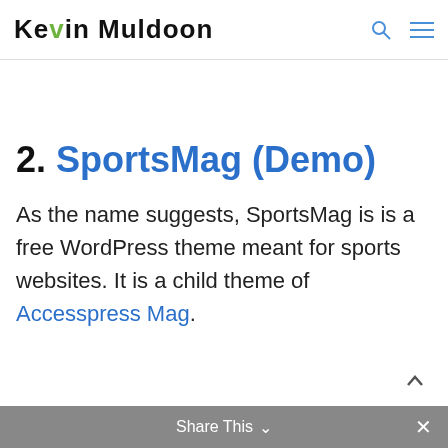Kevin Muldoon
2. SportsMag (Demo)
As the name suggests, SportsMag is is a free WordPress theme meant for sports websites. It is a child theme of Accesspress Mag.
Share This ∨  ×